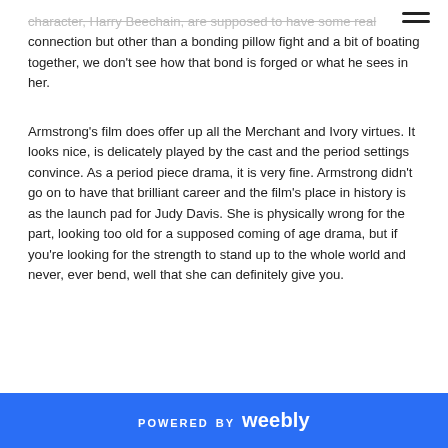character, Harry Beechain, are supposed to have some real connection but other than a bonding pillow fight and a bit of boating together, we don't see how that bond is forged or what he sees in her.
Armstrong's film does offer up all the Merchant and Ivory virtues. It looks nice, is delicately played by the cast and the period settings convince. As a period piece drama, it is very fine. Armstrong didn't go on to have that brilliant career and the film's place in history is as the launch pad for Judy Davis. She is physically wrong for the part, looking too old for a supposed coming of age drama, but if you're looking for the strength to stand up to the whole world and never, ever bend, well that she can definitely give you.
POWERED BY weebly